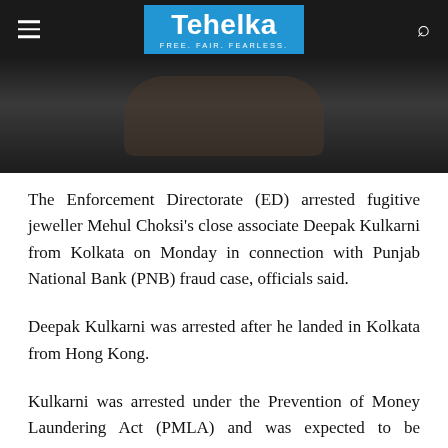Tehelka — FREE. FAIR. FEARLESS.
[Figure (photo): Close-up photograph of hands clasped together against a dark background]
The Enforcement Directorate (ED) arrested fugitive jeweller Mehul Choksi's close associate Deepak Kulkarni from Kolkata on Monday in connection with Punjab National Bank (PNB) fraud case, officials said.
Deepak Kulkarni was arrested after he landed in Kolkata from Hong Kong.
Kulkarni was arrested under the Prevention of Money Laundering Act (PMLA) and was expected to be produced before a court on Tuesday, the officials said.